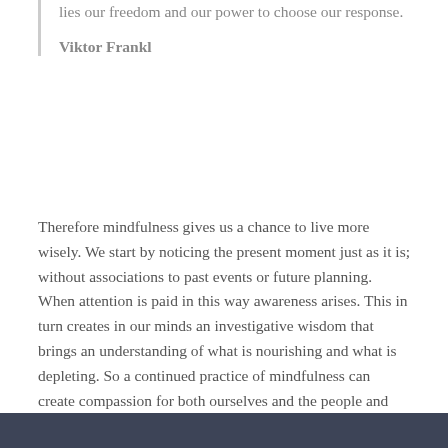lies our freedom and our power to choose our response.
Viktor Frankl
Therefore mindfulness gives us a chance to live more wisely. We start by noticing the present moment just as it is; without associations to past events or future planning. When attention is paid in this way awareness arises. This in turn creates in our minds an investigative wisdom that brings an understanding of what is nourishing and what is depleting. So a continued practice of mindfulness can create compassion for both ourselves and the people and environment around us. We can 'open the clenched fist in our mind, let go and fall into the midst of everything'. Which is as close to a definition of mindfulness as I'd like to get today.